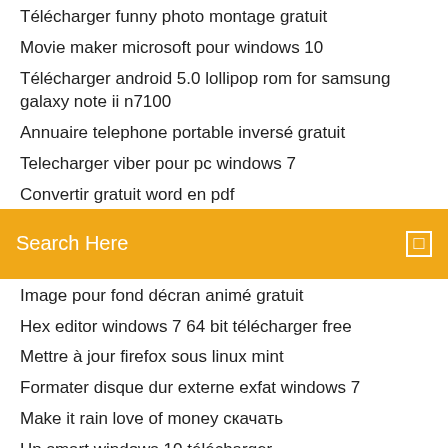Télécharger funny photo montage gratuit
Movie maker microsoft pour windows 10
Télécharger android 5.0 lollipop rom for samsung galaxy note ii n7100
Annuaire telephone portable inversé gratuit
Telecharger viber pour pc windows 7
Convertir gratuit word en pdf
[Figure (screenshot): Orange search bar with 'Search Here' placeholder text and a small icon on the right]
Image pour fond décran animé gratuit
Hex editor windows 7 64 bit télécharger free
Mettre à jour firefox sous linux mint
Formater disque dur externe exfat windows 7
Make it rain love of money скачать
Hp smart windows 10 télécharger
Nvidia 610m driver windows 7 64 bit
Télécharger driver intel hd graphics 520 windows 10 64 bit
Changer le fond décran windows 10
Acrobat reader windows xp sp1